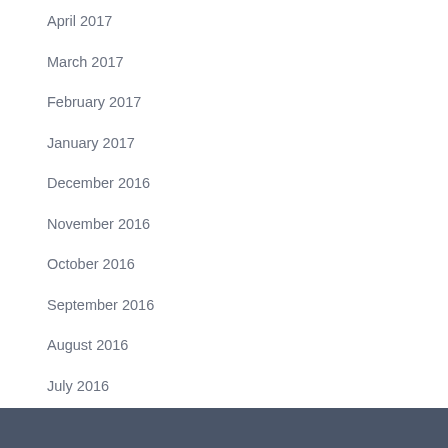April 2017
March 2017
February 2017
January 2017
December 2016
November 2016
October 2016
September 2016
August 2016
July 2016
August 2013
December 2012